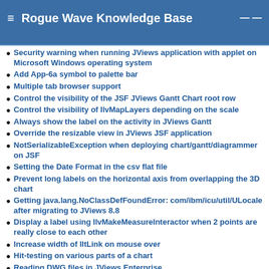Rogue Wave Knowledge Base
Security warning when running JViews application with applet on Microsoft Windows operating system
Add App-6a symbol to palette bar
Multiple tab browser support
Control the visibility of the JSF JViews Gantt Chart root row
Control the visibility of IlvMapLayers depending on the scale
Always show the label on the activity in JViews Gantt
Override the resizable view in JViews JSF application
NotSerializableException when deploying chart/gantt/diagrammer on JSF
Setting the Date Format in the csv flat file
Prevent long labels on the horizontal axis from overlapping the 3D chart
Getting java.lang.NoClassDefFoundError: com/ibm/icu/util/ULocale after migrating to JViews 8.8
Display a label using IlvMakeMeasureInteractor when 2 points are really close to each other
Increase width of IltLink on mouse over
Hit-testing on various parts of a chart
Reading DWG files in JViews Enterprise
Customizing a predefined chart symbol in the distribution to use in Dashboard Editor
Signing JViews jars when distributing them with my application
Integrating Management System for ROGUEWAVE LOG Visualization